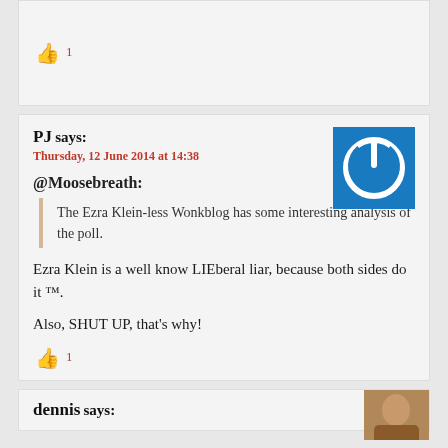[Figure (other): Thumbs up icon in red]
PJ says:
Thursday, 12 June 2014 at 14:38
[Figure (logo): Blue square with white power button icon]
@Moosebreath:
The Ezra Klein-less Wonkblog has some interesting analysis of the poll.
Ezra Klein is a well know LIEberal liar, because both sides do it ™.
Also, SHUT UP, that's why!
[Figure (other): Thumbs up icon in red]
dennis says:
[Figure (photo): Small profile photo thumbnail]